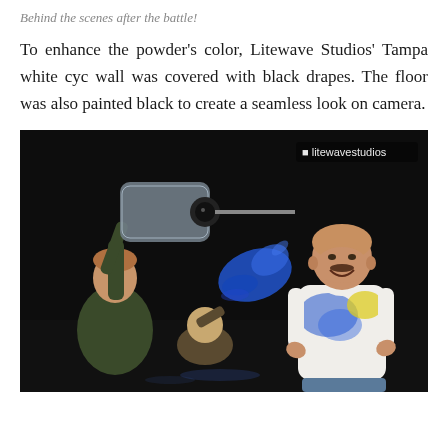Behind the scenes after the battle!
To enhance the powder's color, Litewave Studios' Tampa white cyc wall was covered with black drapes. The floor was also painted black to create a seamless look on camera.
[Figure (photo): Behind-the-scenes photo showing a photographer with a camera wrapped in a plastic cover aiming at a smiling bald man in a blue-and-yellow powder-stained white t-shirt, while another person throws blue powder. Background is dark/black. Watermark 'litewavestudios' in upper right corner.]